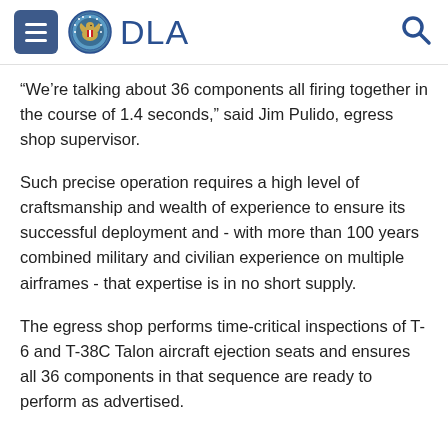DLA
“We’re talking about 36 components all firing together in the course of 1.4 seconds,” said Jim Pulido, egress shop supervisor.
Such precise operation requires a high level of craftsmanship and wealth of experience to ensure its successful deployment and - with more than 100 years combined military and civilian experience on multiple airframes - that expertise is in no short supply.
The egress shop performs time-critical inspections of T-6 and T-38C Talon aircraft ejection seats and ensures all 36 components in that sequence are ready to perform as advertised.